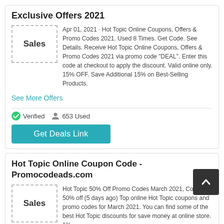Exclusive Offers 2021
Apr 01, 2021 · Hot Topic Online Coupons, Offers & Promo Codes 2021. Used 8 Times. Get Code. See Details. Receive Hot Topic Online Coupons, Offers & Promo Codes 2021 via promo code "DEAL". Enter this code at checkout to apply the discount. Valid online only. 15% OFF. Save Additional 15% on Best-Selling Products.
See More Offers
Verified   653 Used
Get Deals Link
Hot Topic Online Coupon Code - Promocodeads.com
Hot Topic 50% Off Promo Codes March 2021, Co 2021. 50% off (5 days ago) Top online Hot Topic coupons and promo codes for March 2021. You can find some of the best Hot Topic discounts for save money at online store. 1%.
See More Offers